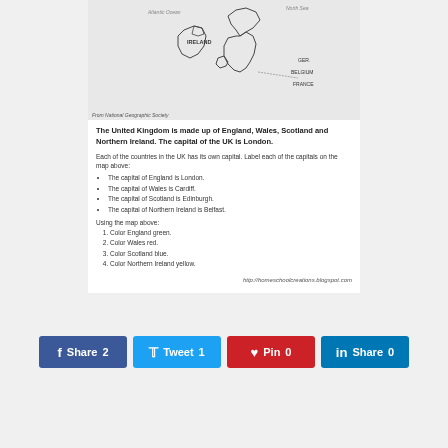[Figure (map): Map of the British Isles showing England, Wales, Scotland, Northern Ireland, and Ireland, with labels for Atlantic Ocean, North Sea, and nearby countries (GER., BELGIUM, FRANCE). Black and white outline map on gray background.]
From National Geographic Society
The United Kingdom is made up of England, Wales, Scotland and Northern Ireland. The capital of the UK is London.
Each of the countries in the UK has its own capital. Label each of the capitals on the map above:
The capital of England is London.
The capital of Wales is Cardiff.
The capital of Scotland is Edinburgh.
The capital of Northern Ireland is Belfast.
Using the map above:
Color England green.
Color Wales red.
Color Scotland blue.
Color Northern Ireland yellow.
http://homeschoolcreations.blogspot.com
Share 2   Tweet 1   Pin 0   Share 0